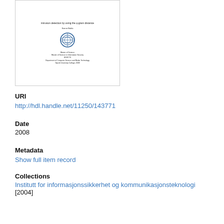[Figure (other): Thumbnail image of a thesis cover page showing title about intrusion detection using q-gram distance, with a university logo and author/degree/department information.]
URI
http://hdl.handle.net/11250/143771
Date
2008
Metadata
Show full item record
Collections
Institutt for informasjonssikkerhet og kommunikasjonsteknologi
[2004]